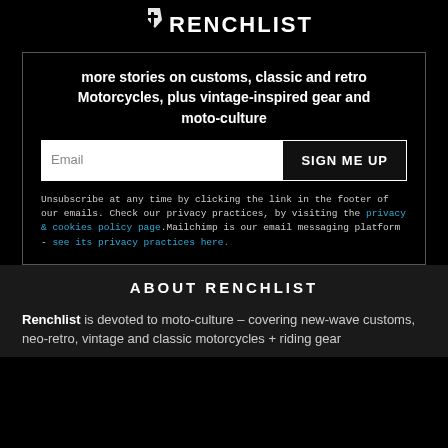[Figure (logo): Renchlist logo - white shield/wrench icon with RENCHLIST text]
more stories on customs, classic and retro Motorcycles, plus vintage-inspired gear and moto-culture
Email | SIGN ME UP
Unsubscribe at any time by clicking the link in the footer of our emails. Check our privacy practices, by visiting the privacy & cookies policy page.Mailchimp is our email messaging platform - see its privacy practices here.
ABOUT RENCHLIST
Renchlist is devoted to moto-culture – covering new-wave customs, neo-retro, vintage and classic motorcycles + riding gear